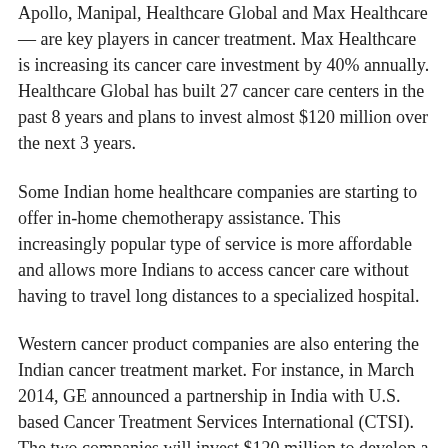Apollo, Manipal, Healthcare Global and Max Healthcare — are key players in cancer treatment. Max Healthcare is increasing its cancer care investment by 40% annually. Healthcare Global has built 27 cancer care centers in the past 8 years and plans to invest almost $120 million over the next 3 years.
Some Indian home healthcare companies are starting to offer in-home chemotherapy assistance. This increasingly popular type of service is more affordable and allows more Indians to access cancer care without having to travel long distances to a specialized hospital.
Western cancer product companies are also entering the Indian cancer treatment market. For instance, in March 2014, GE announced a partnership in India with U.S. based Cancer Treatment Services International (CTSI). The two companies will invest $120 million to develop a network of 25 cancer care centers throughout India over